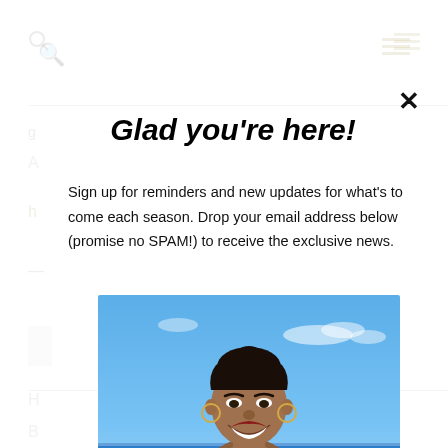Search icon and hamburger menu icon
Glad you're here!
Sign up for reminders and new updates for what's to come each season. Drop your email address below (promise no SPAM!) to receive the exclusive news.
[Figure (photo): A smiling woman with dark hair pulled up in a bun, wearing gold hoop earrings and gold necklaces, photographed outdoors against a blue sky and ocean background.]